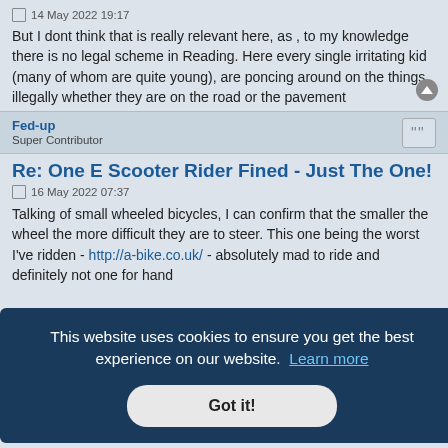14 May 2022 19:17
But I dont think that is really relevant here, as , to my knowledge there is no legal scheme in Reading. Here every single irritating kid (many of whom are quite young), are poncing around on the things illegally whether they are on the road or the pavement
Fed-up
Super Contributor
Re: One E Scooter Rider Fined - Just The One!
16 May 2022 07:37
Talking of small wheeled bicycles, I can confirm that the smaller the wheel the more difficult they are to steer. This one being the worst I've ridden - http://a-bike.co.uk/ - absolutely mad to ride and definitely not one for hand
ecies, so
This website uses cookies to ensure you get the best experience on our website. Learn more
Got it!
Re: One E Scooter Rider Fined - Just The One!